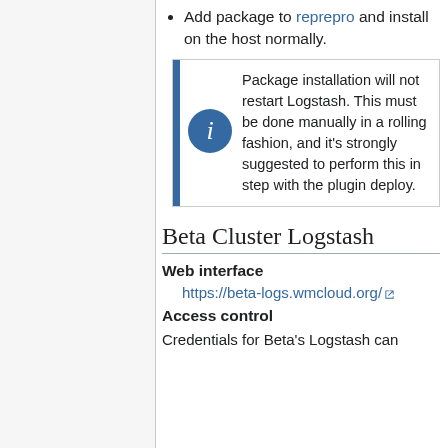Add package to reprepro and install on the host normally.
Package installation will not restart Logstash. This must be done manually in a rolling fashion, and it's strongly suggested to perform this in step with the plugin deploy.
Beta Cluster Logstash
Web interface
https://beta-logs.wmcloud.org/
Access control
Credentials for Beta's Logstash can